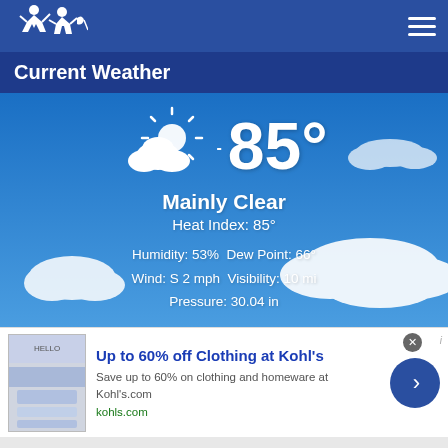Navigation header with logo and menu
Current Weather
[Figure (infographic): Weather display showing partly cloudy sky with sun icon and temperature 85°, condition: Mainly Clear, Heat Index: 85°, Humidity: 53%, Dew Point: 66°, Wind: S 2 mph, Visibility: 10 mi, Pressure: 30.04 in]
[Figure (infographic): Advertisement banner: Up to 60% off Clothing at Kohl's. Save up to 60% on clothing and homeware at Kohl's.com. kohls.com]